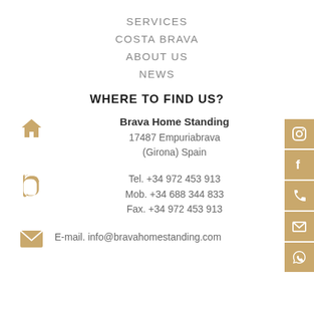SERVICES
COSTA BRAVA
ABOUT US
NEWS
WHERE TO FIND US?
Brava Home Standing
17487 Empuriabrava
(Girona) Spain
Tel. +34 972 453 913
Mob. +34 688 344 833
Fax. +34 972 453 913
E-mail. info@bravahomestanding.com